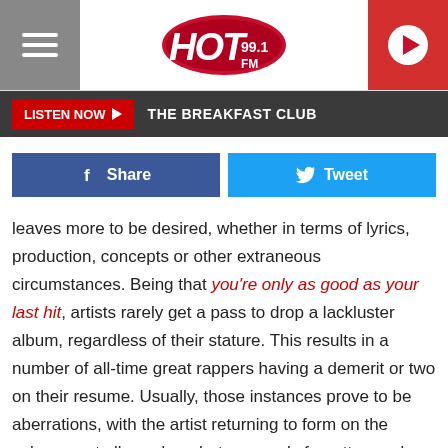[Figure (logo): Hot 99.1 FM radio station logo with red oval background and stylized text]
LISTEN NOW ▶  THE BREAKFAST CLUB
[Figure (other): Facebook Share button and Twitter Tweet button social sharing row]
leaves more to be desired, whether in terms of lyrics, production, concepts or other extraneous circumstances. Being that you're only as good as your last hit, artists rarely get a pass to drop a lackluster album, regardless of their stature. This results in a number of all-time great rappers having a demerit or two on their resume. Usually, those instances prove to be aberrations, with the artist returning to form on the subsequent album drop, but are rarely forgotten and are held against the artist by the public.